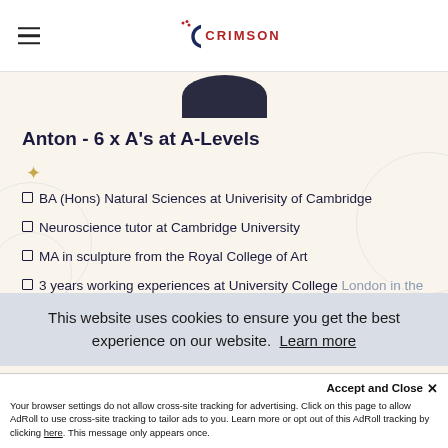CRIMSON
[Figure (illustration): Circular profile photo of person named Anton, partially visible at top]
Anton - 6 x A's at A-Levels
BA (Hons) Natural Sciences at Univerisity of Cambridge
Neuroscience tutor at Cambridge University
MA in sculpture from the Royal College of Art
3 years working experiences at University College London in the field of visual neuroscience.
This website uses cookies to ensure you get the best experience on our website.  Learn more
Accept and Close ✕
Your browser settings do not allow cross-site tracking for advertising. Click on this page to allow AdRoll to use cross-site tracking to tailor ads to you. Learn more or opt out of this AdRoll tracking by clicking here. This message only appears once.